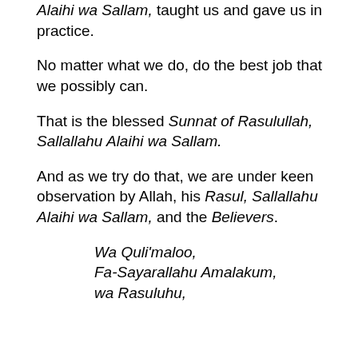Alaihi wa Sallam, taught us and gave us in practice.
No matter what we do, do the best job that we possibly can.
That is the blessed Sunnat of Rasulullah, Sallallahu Alaihi wa Sallam.
And as we try do that, we are under keen observation by Allah, his Rasul, Sallallahu Alaihi wa Sallam, and the Believers.
Wa Quli'maloo,
Fa-Sayarallahu Amalakum,
wa Rasuluhu,